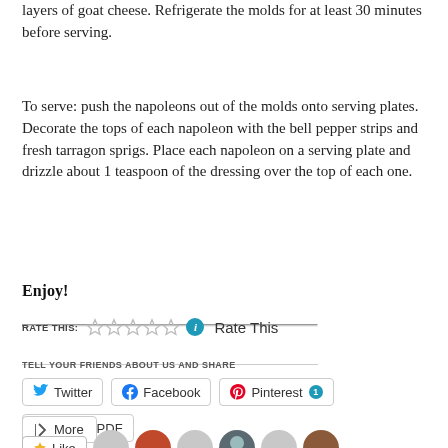layers of goat cheese. Refrigerate the molds for at least 30 minutes before serving.
To serve: push the napoleons out of the molds onto serving plates. Decorate the tops of each napoleon with the bell pepper strips and fresh tarragon sprigs. Place each napoleon on a serving plate and drizzle about 1 teaspoon of the dressing over the top of each one.
Enjoy!
RATE THIS: ☆☆☆☆☆ ℹ Rate This
TELL YOUR FRIENDS ABOUT US AND SHARE
Twitter  Facebook  Pinterest 1  Print & PDF
More
[Figure (other): Like button and user avatar thumbnails row at the bottom of the page]